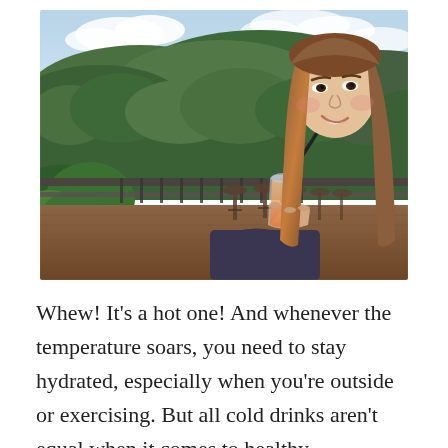[Figure (photo): A young Asian woman with long brown hair smiling and drinking a cold beverage through a black straw from a clear plastic cup. She is on an outdoor terrace or balcony with bar stools and a railing, with lush green forested hills and a partly cloudy sky in the background.]
Whew! It's a hot one! And whenever the temperature soars, you need to stay hydrated, especially when you're outside or exercising. But all cold drinks aren't equal when it comes to healthy